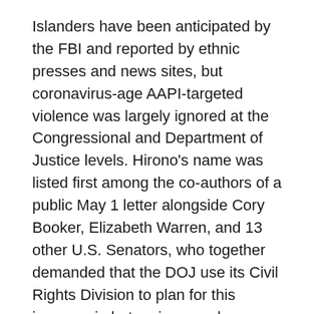Islanders have been anticipated by the FBI and reported by ethnic presses and news sites, but coronavirus-age AAPI-targeted violence was largely ignored at the Congressional and Department of Justice levels. Hirono's name was listed first among the co-authors of a public May 1 letter alongside Cory Booker, Elizabeth Warren, and 13 other U.S. Senators, who together demanded that the DOJ use its Civil Rights Division to plan for this increase in hate crimes and designate a DOJ official to be in charge of such crimes so as to coordinate effective handling with other government agencies. Parallel efforts by the Hawai'i senator, to create joint Congressional resolutions decrying the rise of such crimes, have inspired Chu and her cohort of Representatives of color to educate their fellow members of Congress on the seriousness of the issue, according to Asian Journal.
“There has been an increase in crimes against Asian Americans, but it starts with an environment where the